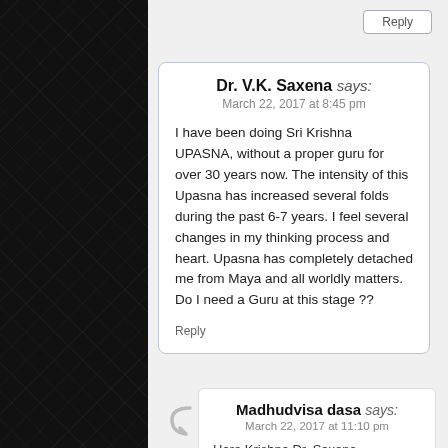Reply
Dr. V.K. Saxena says:
March 22, 2017 at 8:45 pm

I have been doing Sri Krishna UPASNA, without a proper guru for over 30 years now. The intensity of this Upasna has increased several folds during the past 6-7 years. I feel several changes in my thinking process and heart. Upasna has completely detached me from Maya and all worldly matters.
Do I need a Guru at this stage ??

Reply
Madhudvisa dasa says:
March 22, 2017 at 11:10 pm

Hare Krishna Dr. Saxena